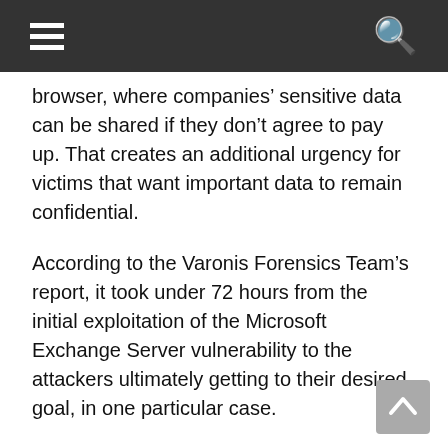≡  🔍
browser, where companies' sensitive data can be shared if they don't agree to pay up. That creates an additional urgency for victims that want important data to remain confidential.
According to the Varonis Forensics Team's report, it took under 72 hours from the initial exploitation of the Microsoft Exchange Server vulnerability to the attackers ultimately getting to their desired goal, in one particular case.
If your organization relies on Microsoft Exchange Server, you'll want to make sure you have the latest patches installed in order to stay protected from this wave of ransomware attacks. It's generally a good idea to stay as up-to-date as possible considering vulnerabilities are often revealed after patches have been issued, leaving out-of-date systems susceptible to...